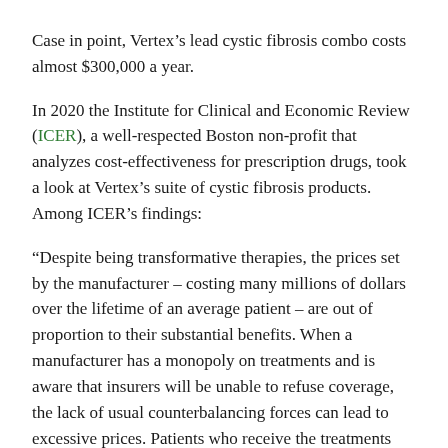Case in point, Vertex's lead cystic fibrosis combo costs almost $300,000 a year.
In 2020 the Institute for Clinical and Economic Review (ICER), a well-respected Boston non-profit that analyzes cost-effectiveness for prescription drugs, took a look at Vertex's suite of cystic fibrosis products. Among ICER's findings:
“Despite being transformative therapies, the prices set by the manufacturer – costing many millions of dollars over the lifetime of an average patient – are out of proportion to their substantial benefits. When a manufacturer has a monopoly on treatments and is aware that insurers will be unable to refuse coverage, the lack of usual counterbalancing forces can lead to excessive prices. Patients who receive the treatments will benefit, but unaligned prices will cause significant negative health consequences for many unseen individuals.”